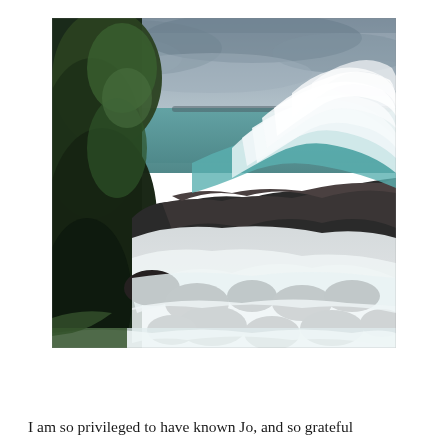[Figure (photo): Coastal scene showing large ocean waves crashing against dark rocks along a rugged shoreline. Green conifer trees are visible on the left side. The sea is turquoise-green and the sky is overcast with grey clouds. White sea foam covers the rocks in the foreground.]
I am so privileged to have known Jo, and so grateful